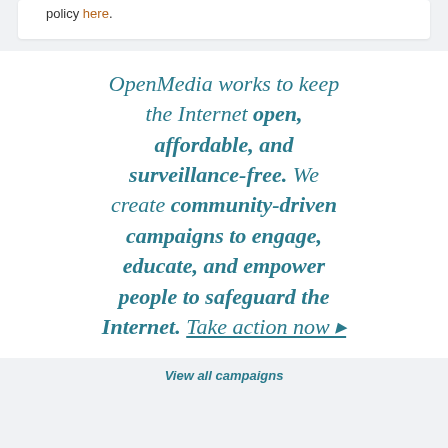policy here.
OpenMedia works to keep the Internet open, affordable, and surveillance-free. We create community-driven campaigns to engage, educate, and empower people to safeguard the Internet. Take action now ▸
View all campaigns